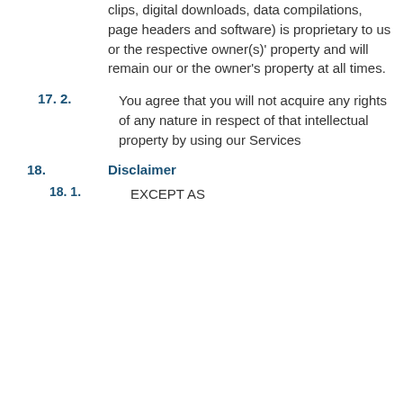clips, digital downloads, data compilations, page headers and software) is proprietary to us or the respective owner(s)' property and will remain our or the owner's property at all times.
17. 2.   You agree that you will not acquire any rights of any nature in respect of that intellectual property by using our Services
18.   Disclaimer
18. 1.   EXCEPT AS